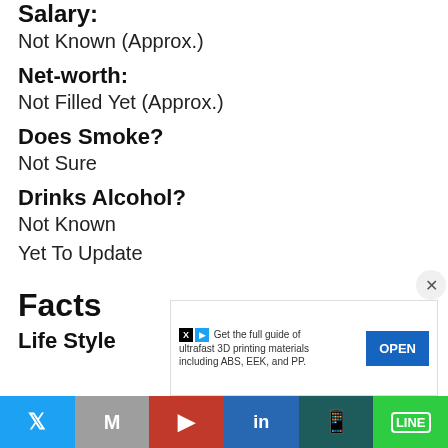Salary:
Not Known (Approx.)
Net-worth:
Not Filled Yet (Approx.)
Does Smoke?
Not Sure
Drinks Alcohol?
Not Known
Yet To Update
Facts
Life Style
Get the full guide of ultrafast 3D printing materials including ABS, EEK, and PP.
Twitter | Gmail | Pinterest | LinkedIn | WhatsApp | LINE